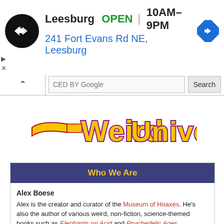[Figure (screenshot): Google Maps / Google Ads banner showing Leesburg store location: logo circle with arrows icon, 'Leesburg OPEN 10AM–9PM', address '241 Fort Evans Rd NE, Leesburg', blue navigation diamond icon. Below is a partially visible search bar with chevron-up arrow, 'CED BY Google' text, and Search button.]
[Figure (logo): Weird Universe website logo in stylized yellow and red text with purple outline on white background]
Who We Are
Alex Boese
Alex is the creator and curator of the Museum of Hoaxes. He's also the author of various weird, non-fiction, science-themed books such as Elephants on Acid and Psychedelic Apes.